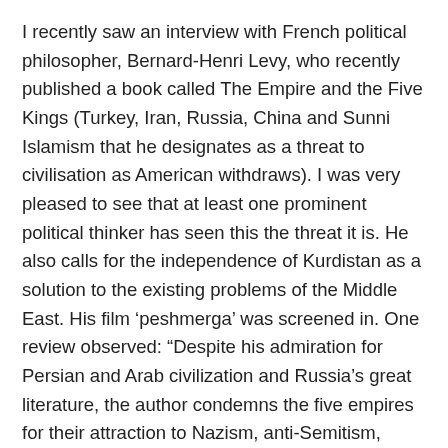I recently saw an interview with French political philosopher, Bernard-Henri Levy, who recently published a book called The Empire and the Five Kings (Turkey, Iran, Russia, China and Sunni Islamism that he designates as a threat to civilisation as American withdraws). I was very pleased to see that at least one prominent political thinker has seen this the threat it is. He also calls for the independence of Kurdistan as a solution to the existing problems of the Middle East. His film ‘peshmerga’ was screened in. One review observed: “Despite his admiration for Persian and Arab civilization and Russia’s great literature, the author condemns the five empires for their attraction to Nazism, anti-Semitism, fascism, and totalitarianism…”
ISIS was removed from direct power by the Kurds with the help of the US-led coalition. The PYD created a generally workable solution in the area for everyone. This kind of management never happened in any other country in the region except Israel.